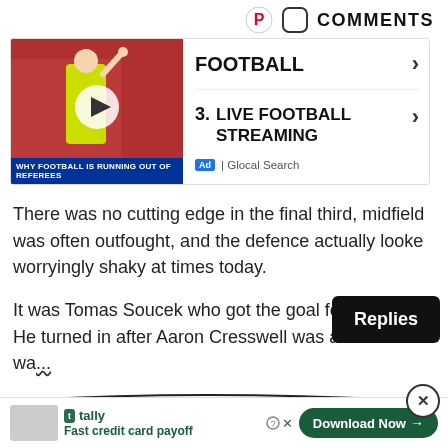[Figure (screenshot): Pinterest icon and COMMENTS label in top bar]
[Figure (screenshot): Video thumbnail of referee with title 'Why Football Is Running Out Of Referees' with play button overlay, next to an ad panel showing FOOTBALL and LIVE FOOTBALL STREAMING items with chevrons and Glocal Search ad footer]
There was no cutting edge in the final third, midfield was often outfought, and the defence actually looked worryingly shaky at times today.
[Figure (screenshot): Black Replies button tooltip overlaid on text]
It was Tomas Soucek who got the goal for the hosts. He turned in after Aaron Cresswell was allowed to wa
[Figure (screenshot): Close (X) button circle at right side]
[Figure (screenshot): Bottom ad bar: Tally logo, Fast credit card payoff text, Download Now button, help and X icons]